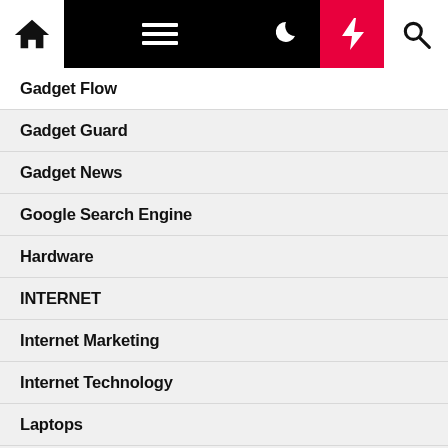[Figure (screenshot): Website navigation bar with home icon, hamburger menu, moon icon, lightning bolt (red background), and search icon on black/white background]
Gadget Flow
Gadget Guard
Gadget News
Google Search Engine
Hardware
INTERNET
Internet Marketing
Internet Technology
Laptops
MOBILE AND COMPUTING